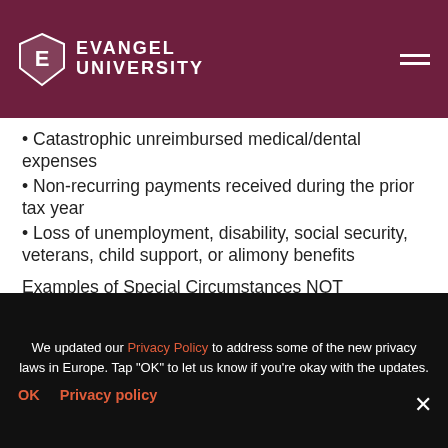Evangel University
• Catastrophic unreimbursed medical/dental expenses
• Non-recurring payments received during the prior tax year
• Loss of unemployment, disability, social security, veterans, child support, or alimony benefits
Examples of Special Circumstances NOT Considered:
• Increase of standard living expenses
• Purchasing material items such as a car, home appliances, vacations, second homes, etc.
We updated our Privacy Policy to address some of the new privacy laws in Europe. Tap "OK" to let us know if you're okay with the updates.
OK   Privacy policy